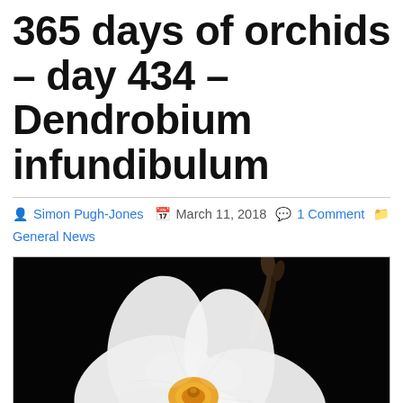365 days of orchids – day 434 – Dendrobium infundibulum
Simon Pugh-Jones  March 11, 2018  1 Comment  General News
[Figure (photo): Close-up photograph of a white Dendrobium infundibulum orchid flower with orange/yellow center, against a black background. A dark stem is visible at the top.]